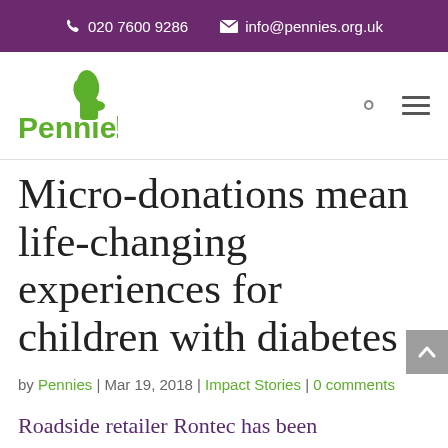020 7600 9286  info@pennies.org.uk
[Figure (logo): Pennies logo with green hand/leaf icon and green bold text 'Pennies' with exclamation mark]
Micro-donations mean life-changing experiences for children with diabetes
by Pennies | Mar 19, 2018 | Impact Stories | 0 comments
Roadside retailer Rontec has been